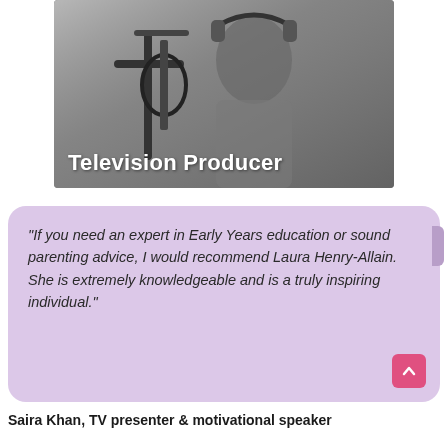[Figure (photo): Black and white photo of a person wearing headphones and speaking into a microphone in a recording studio, with text overlay reading 'Television Producer']
"If you need an expert in Early Years education or sound parenting advice, I would recommend Laura Henry-Allain. She is extremely knowledgeable and is a truly inspiring individual."
Saira Khan, TV presenter & motivational speaker